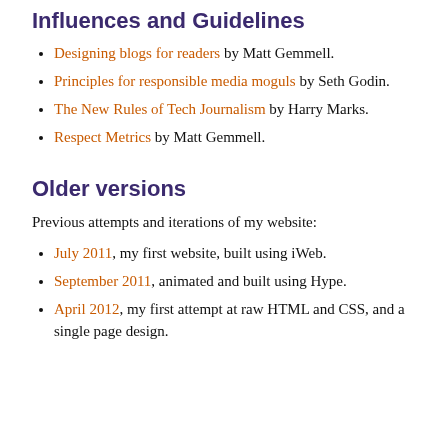Influences and Guidelines
Designing blogs for readers by Matt Gemmell.
Principles for responsible media moguls by Seth Godin.
The New Rules of Tech Journalism by Harry Marks.
Respect Metrics by Matt Gemmell.
Older versions
Previous attempts and iterations of my website:
July 2011, my first website, built using iWeb.
September 2011, animated and built using Hype.
April 2012, my first attempt at raw HTML and CSS, and a single page design.